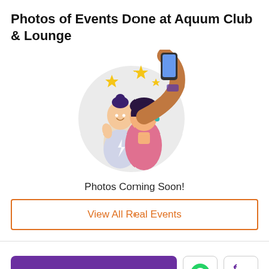Photos of Events Done at Aquum Club & Lounge
[Figure (illustration): Illustration of two women taking a selfie inside a circle, with sparkle stars, one woman in pink, one in light colors holding a phone up]
Photos Coming Soon!
View All Real Events
Check September Offers